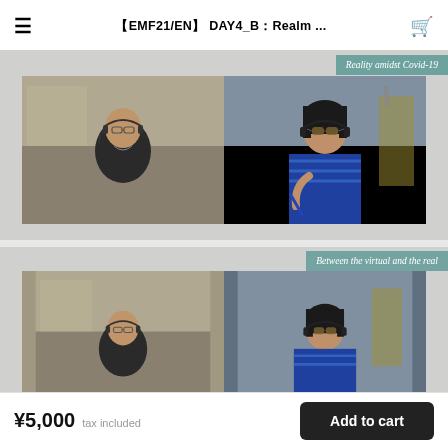【EMF21/EN】DAY4_B：Realm ...
[Figure (screenshot): Video conference screenshot showing two participants (panel left: person with glasses and headset in dark room; panel right: person with sunglasses and headset in blue striped clothing holding a pen). Badge overlay reads 'Reality amidst Covid-19'.]
[Figure (screenshot): Video conference screenshot (partially visible, cropped at bottom) showing two participants similarly to the first image. Badge overlay reads 'Between the virtual and the real'.]
¥5,000  tax included
Add to cart